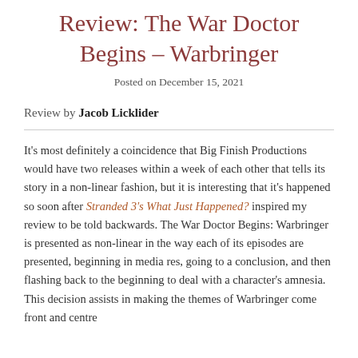Review: The War Doctor Begins – Warbringer
Posted on December 15, 2021
Review by Jacob Licklider
It's most definitely a coincidence that Big Finish Productions would have two releases within a week of each other that tells its story in a non-linear fashion, but it is interesting that it's happened so soon after Stranded 3's What Just Happened? inspired my review to be told backwards. The War Doctor Begins: Warbringer is presented as non-linear in the way each of its episodes are presented, beginning in media res, going to a conclusion, and then flashing back to the beginning to deal with a character's amnesia. This decision assists in making the themes of Warbringer come front and centre